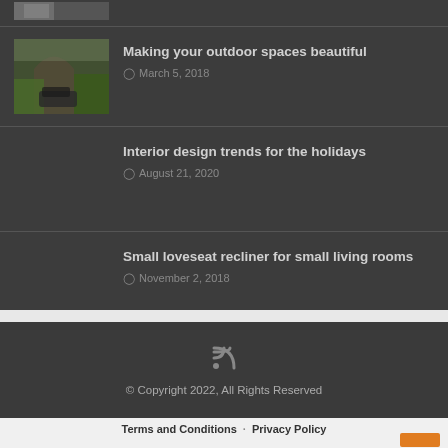[Figure (photo): Thumbnail of outdoor garden/courtyard with car and arched brick building]
Making your outdoor spaces beautiful
March 5, 2018
Interior design trends for the holidays
August 21, 2020
Small loveseat recliner for small living rooms
November 2, 2018
© Copyright 2022, All Rights Reserved
Terms and Conditions · Privacy Policy